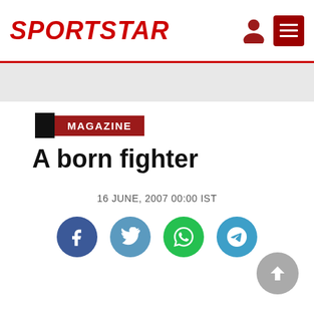SPORTSTAR
MAGAZINE
A born fighter
16 JUNE, 2007 00:00 IST
[Figure (infographic): Social sharing buttons: Facebook, Twitter, WhatsApp, Telegram]